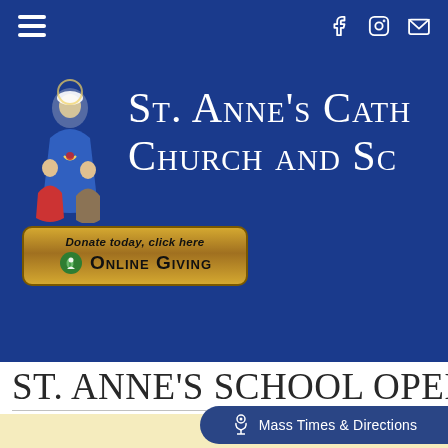Navigation bar with hamburger menu, Facebook, Instagram, and email icons
[Figure (logo): St. Anne's Catholic Church and School logo with illustrated religious figure and two children, white text on blue background reading 'St. Anne's Cath...' and 'Church and Sc...']
[Figure (illustration): Online Giving button with leaf icon, text 'Donate today, click here' and 'Online Giving' on gold/brown gradient background]
ST. ANNE'S SCHOOL OPEN HO...
[Figure (screenshot): Cream/beige content area with 'Mass Times & Directions' button in navy blue with chalice icon, bottom right]